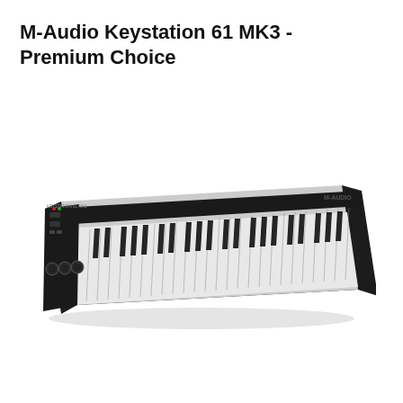M-Audio Keystation 61 MK3 - Premium Choice
[Figure (photo): M-Audio Keystation 61 MK3 MIDI keyboard controller shown in a perspective/angled view from above-left. The keyboard has 61 keys with black and white keys, a black body with silver/gray key surface, control knobs and buttons on the left side, and the M-Audio logo on the right end.]